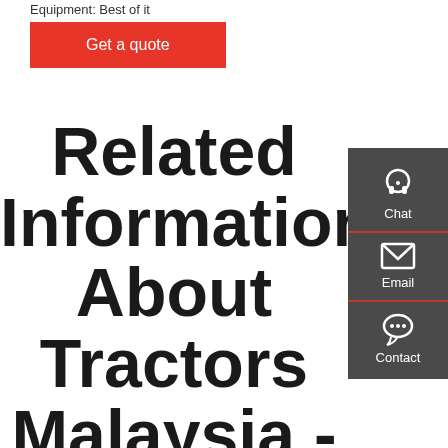Equipment: Best of it
Get a quote
Related Information About Tractors Malaysia - INTRODUCING SEM WHEEL LOADER
Chat
Email
Contact